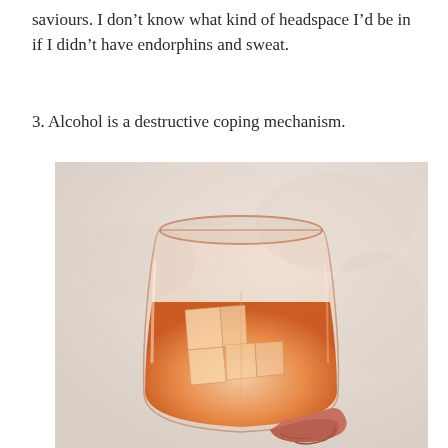saviours. I don't know what kind of headspace I'd be in if I didn't have endorphins and sweat.
3. Alcohol is a destructive coping mechanism.
[Figure (photo): A close-up photo of a hand holding a clear glass tumbler filled with an orange-red drink and ice cubes, set against a light beige textured background.]